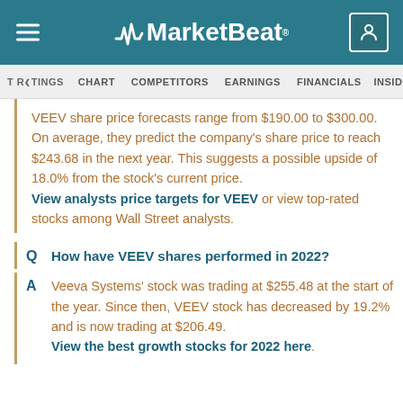MarketBeat
T RATINGS  CHART  COMPETITORS  EARNINGS  FINANCIALS  INSIDER TRADES
VEEV share price forecasts range from $190.00 to $300.00. On average, they predict the company's share price to reach $243.68 in the next year. This suggests a possible upside of 18.0% from the stock's current price. View analysts price targets for VEEV or view top-rated stocks among Wall Street analysts.
How have VEEV shares performed in 2022?
Veeva Systems' stock was trading at $255.48 at the start of the year. Since then, VEEV stock has decreased by 19.2% and is now trading at $206.49. View the best growth stocks for 2022 here.